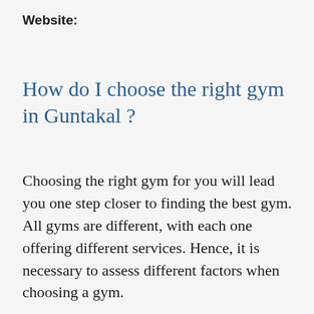Website:
How do I choose the right gym in Guntakal ?
Choosing the right gym for you will lead you one step closer to finding the best gym. All gyms are different, with each one offering different services. Hence, it is necessary to assess different factors when choosing a gym.